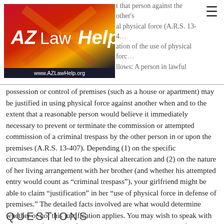[Figure (logo): AZ Law Help logo with Arizona state flag background and URL www.AZLawHelp.org]
that person against the other's physical force (A.R.S. 13-4... ation of the use of physical force llows: A person in lawful
possession or control of premises (such as a house or apartment) may be justified in using physical force against another when and to the extent that a reasonable person would believe it immediately necessary to prevent or terminate the commission or attempted commission of a criminal trespass by the other person in or upon the premises (A.R.S. 13-407). Depending (1) on the specific circumstances that led to the physical altercation and (2) on the nature of her living arrangement with her brother (and whether his attempted entry would count as “criminal trespass”), your girlfriend might be able to claim “justification” in her “use of physical force in defense of premises.” The detailed facts involved are what would determine whether or not this justification applies. You may wish to speak with an attorney for more information and to see how your specific circumstances would apply.
QUESTIONS